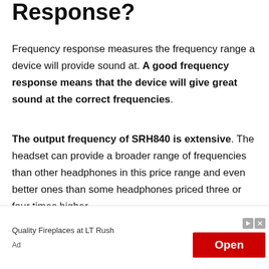Response?
Frequency response measures the frequency range a device will provide sound at. A good frequency response means that the device will give great sound at the correct frequencies.
The output frequency of SRH840 is extensive. The headset can provide a broader range of frequencies than other headphones in this price range and even better ones than some headphones priced three or four times higher.
Quality Fireplaces at LT Rush
Ad
Open